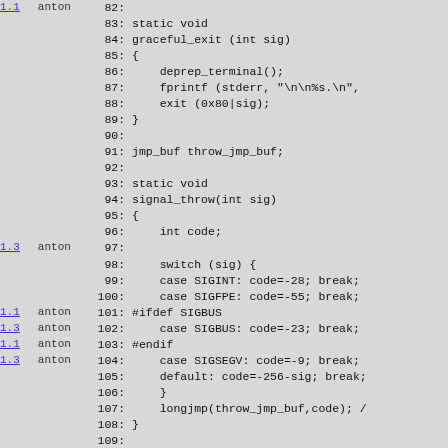Source code annotation view showing lines 82-111 of a C source file with version annotations (1.1, 1.3) and author (anton). Lines include graceful_exit function, jmp_buf declaration, signal_throw function with switch statement handling SIGINT, SIGFPE, SIGBUS, SIGSEGV signals, and #ifdef SA_SIGINFO block.